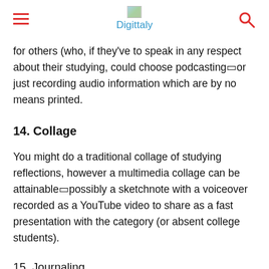Digittaly
for others (who, if they've to speak in any respect about their studying, could choose podcasting□or just recording audio information which are by no means printed.
14. Collage
You might do a traditional collage of studying reflections, however a multimedia collage can be attainable□possibly a sketchnote with a voiceover recorded as a YouTube video to share as a fast presentation with the category (or absent college students).
15. Journaling
The College of Missouri-St Louis gives Three sorts of